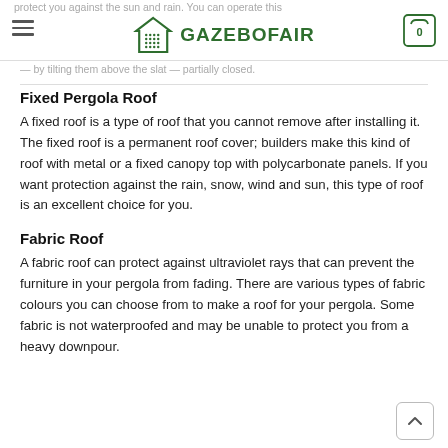GAZEBOFAIR
Fixed Pergola Roof
A fixed roof is a type of roof that you cannot remove after installing it. The fixed roof is a permanent roof cover; builders make this kind of roof with metal or a fixed canopy top with polycarbonate panels. If you want protection against the rain, snow, wind and sun, this type of roof is an excellent choice for you.
Fabric Roof
A fabric roof can protect against ultraviolet rays that can prevent the furniture in your pergola from fading. There are various types of fabric colours you can choose from to make a roof for your pergola. Some fabric is not waterproofed and may be unable to protect you from a heavy downpour.